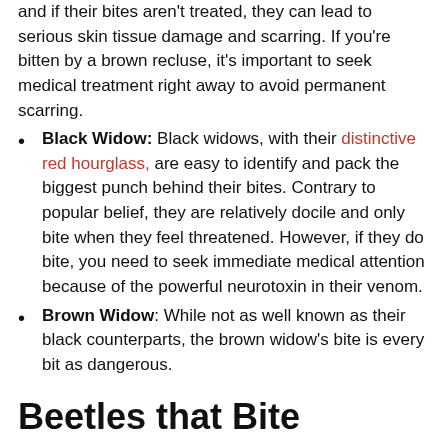and if their bites aren't treated, they can lead to serious skin tissue damage and scarring. If you're bitten by a brown recluse, it's important to seek medical treatment right away to avoid permanent scarring.
Black Widow: Black widows, with their distinctive red hourglass, are easy to identify and pack the biggest punch behind their bites. Contrary to popular belief, they are relatively docile and only bite when they feel threatened. However, if they do bite, you need to seek immediate medical attention because of the powerful neurotoxin in their venom.
Brown Widow: While not as well known as their black counterparts, the brown widow's bite is every bit as dangerous.
Beetles that Bite
Their bites may not be venomous, but some beetles in Alabama will bite you if they're given the chance. Avoid these beetles' pincers:
Sap Beetle: These beetles are one of the few species that have pinchers strong enough to sink through the skin of